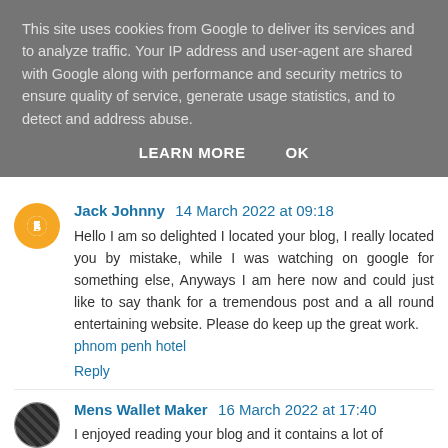This site uses cookies from Google to deliver its services and to analyze traffic. Your IP address and user-agent are shared with Google along with performance and security metrics to ensure quality of service, generate usage statistics, and to detect and address abuse.
LEARN MORE   OK
Jack Johnny  14 March 2022 at 09:18
Hello I am so delighted I located your blog, I really located you by mistake, while I was watching on google for something else, Anyways I am here now and could just like to say thank for a tremendous post and a all round entertaining website. Please do keep up the great work. phnom penh hotel
Reply
Mens Wallet Maker  16 March 2022 at 17:40
I enjoyed reading your blog and it contains a lot of